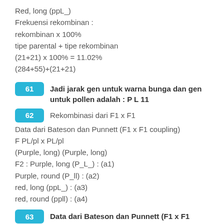Red, long (ppL_)
Frekuensi rekombinan :
rekombinan x 100%
tipe parental + tipe rekombinan
(21+21) x 100% = 11.02%
(284+55)+(21+21)
61   Jadi jarak gen untuk warna bunga dan gen untuk pollen adalah : P L 11
62   Rekombinasi dari F1 x F1
Data dari Bateson dan Punnett (F1 x F1 coupling)
F PL/pl x PL/pl
(Purple, long) (Purple, long)
F2 : Purple, long (P_L_) : (a1)
Purple, round (P_ll) : (a2)
red, long (ppL_) : (a3)
red, round (ppll) : (a4)
63   Data dari Bateson dan Punnett (F1 x F1 repulsion)
F1 : Pl/pL x Pl/pL
(Purple, long) (Purple, long)